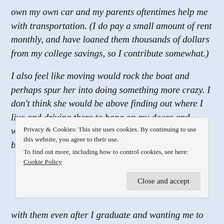own my own car and my parents oftentimes help me with transportation. (I do pay a small amount of rent monthly, and have loaned them thousands of dollars from my college savings, so I contribute somewhat.)
I also feel like moving would rock the boat and perhaps spur her into doing something more crazy. I don't think she would be above finding out where I live and driving there to bang on my doors and windows and scream at me. (She has done this before with my dad.) I am trying to sympathize with
Privacy & Cookies: This site uses cookies. By continuing to use this website, you agree to their use.
To find out more, including how to control cookies, see here: Cookie Policy
with them even after I graduate and wanting me to